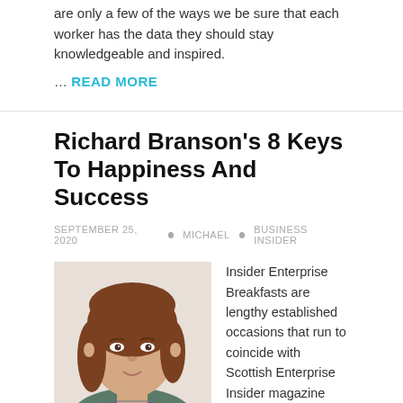are only a few of the ways we be sure that each worker has the data they should stay knowledgeable and inspired.
… READ MORE
Richard Branson's 8 Keys To Happiness And Success
SEPTEMBER 25, 2020 • MICHAEL • BUSINESS INSIDER
[Figure (photo): Portrait photo of a woman with brown hair wearing a colorful top, light background]
Insider Enterprise Breakfasts are lengthy established occasions that run to coincide with Scottish Enterprise Insider magazine releases and prominent political and social issues of our time. 20 Oct 2019 15:28h. 20 Oct 2019 17:30h. I started to work